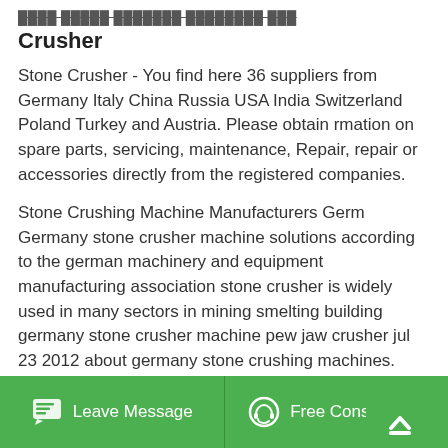Crusher
Stone Crusher - You find here 36 suppliers from Germany Italy China Russia USA India Switzerland Poland Turkey and Austria. Please obtain rmation on spare parts, servicing, maintenance, Repair, repair or accessories directly from the registered companies.
Stone Crushing Machine Manufacturers Germany Germany stone crusher machine solutions according to the german machinery and equipment manufacturing association stone crusher is widely used in many sectors in mining smelting building germany stone crusher machine pew jaw crusher jul 23 2012 about germany stone crushing machines.
Leave Message   Free Consultation